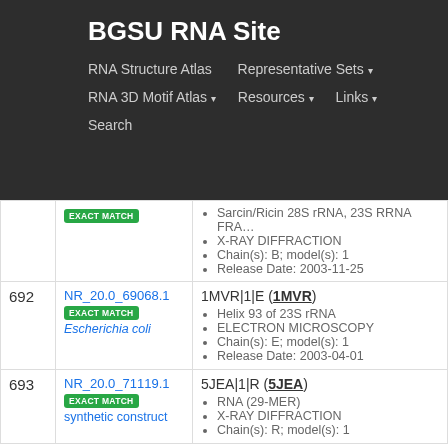BGSU RNA Site
RNA Structure Atlas | Representative Sets ▾ | RNA 3D Motif Atlas ▾ | Resources ▾ | Links ▾ | Search
| # | ID / Match | Structure Details |
| --- | --- | --- |
|  | EXACT MATCH | Sarcin/Ricin 28S rRNA, 23S RRNA FRAG... • X-RAY DIFFRACTION • Chain(s): B; model(s): 1 • Release Date: 2003-11-25 |
| 692 | NR_20.0_69068.1 EXACT MATCH Escherichia coli | 1MVR|1|E (1MVR) • Helix 93 of 23S rRNA • ELECTRON MICROSCOPY • Chain(s): E; model(s): 1 • Release Date: 2003-04-01 |
| 693 | NR_20.0_71119.1 EXACT MATCH synthetic construct | 5JEA|1|R (5JEA) • RNA (29-MER) • X-RAY DIFFRACTION • Chain(s): R; model(s): 1 |